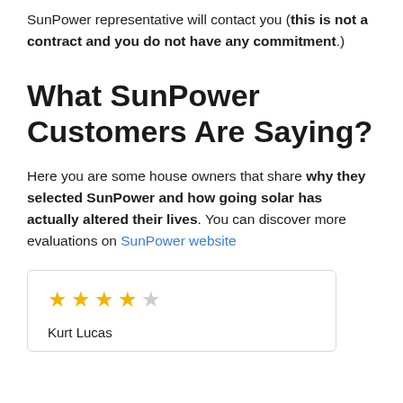SunPower representative will contact you (this is not a contract and you do not have any commitment.)
What SunPower Customers Are Saying?
Here you are some house owners that share why they selected SunPower and how going solar has actually altered their lives. You can discover more evaluations on SunPower website
★★★★☆
Kurt Lucas